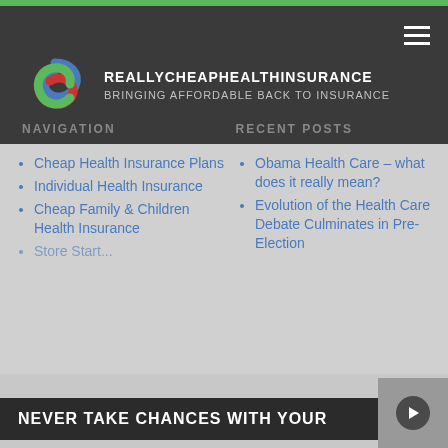REALLYCHEAPHEALTHINSURANCE BRINGING AFFORDABLE BACK TO INSURANCE
NAVIGATION
RECENT POSTS
Cheap Health Insurance Plans
Individual Health Insurance
Cheap Family & Children Health Insurance
Obama Health Care – what does it really mean?
Evolution of the Health Care Debate Culminates in Pre-Election
HEALTH INSURANCE ARTICLES
U.S. Supreme
NEVER TAKE CHANCES WITH YOUR